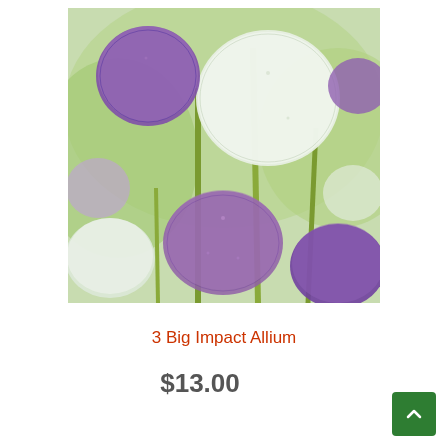[Figure (photo): Close-up photograph of purple and white spherical allium flowers (ornamental onion) with green stems against a blurred green background. The blooms are round pompom-shaped flower heads in shades of deep purple, lavender, and white.]
3 Big Impact Allium
$13.00